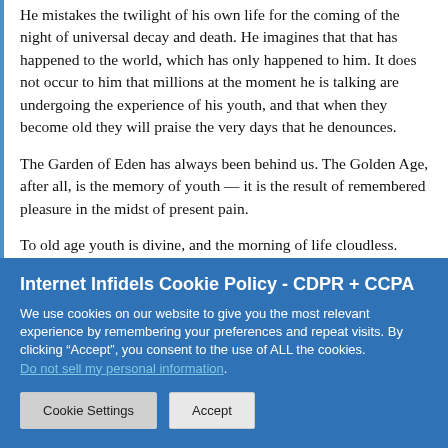He mistakes the twilight of his own life for the coming of the night of universal decay and death. He imagines that that has happened to the world, which has only happened to him. It does not occur to him that millions at the moment he is talking are undergoing the experience of his youth, and that when they become old they will praise the very days that he denounces.
The Garden of Eden has always been behind us. The Golden Age, after all, is the memory of youth — it is the result of remembered pleasure in the midst of present pain.
To old age youth is divine, and the morning of life cloudless.
Internet Infidels Cookie Policy - CDPR + CCPA
We use cookies on our website to give you the most relevant experience by remembering your preferences and repeat visits. By clicking “Accept”, you consent to the use of ALL the cookies. Do not sell my personal information.